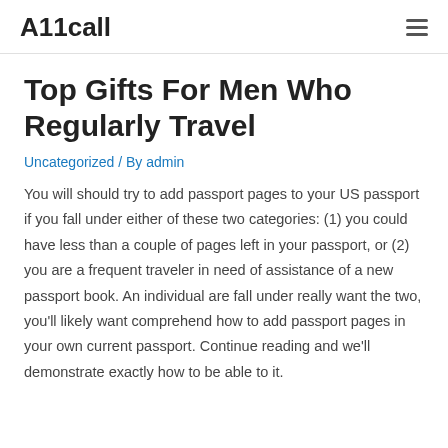A11call
Top Gifts For Men Who Regularly Travel
Uncategorized / By admin
You will should try to add passport pages to your US passport if you fall under either of these two categories: (1) you could have less than a couple of pages left in your passport, or (2) you are a frequent traveler in need of assistance of a new passport book. An individual are fall under really want the two, you'll likely want comprehend how to add passport pages in your own current passport. Continue reading and we'll demonstrate exactly how to be able to it.